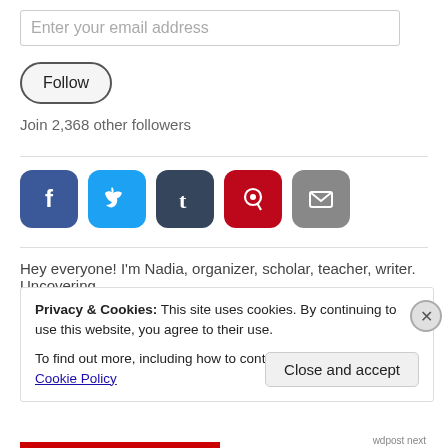Enter your email address
Follow
Join 2,368 other followers
[Figure (illustration): Social media icons: Facebook (blue), Twitter (light blue), Tumblr (dark blue), Pinterest (red), Email (grey)]
Hey everyone! I'm Nadia, organizer, scholar, teacher, writer. Uncovering
Privacy & Cookies: This site uses cookies. By continuing to use this website, you agree to their use.
To find out more, including how to control cookies, see here: Cookie Policy
Close and accept